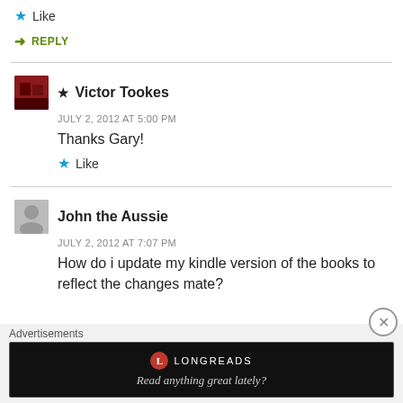★ Like
➜ REPLY
★ Victor Tookes
JULY 2, 2012 AT 5:00 PM
Thanks Gary!
★ Like
John the Aussie
JULY 2, 2012 AT 7:07 PM
How do i update my kindle version of the books to reflect the changes mate?
Advertisements
[Figure (other): Longreads advertisement banner: red circle logo with L, brand name LONGREADS, tagline 'Read anything great lately?' on black background]